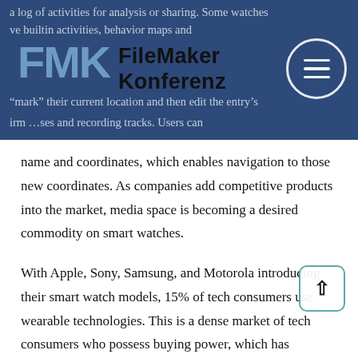FileMaker Konferenz — header banner with logo and navigation
a log of activities for analysis or sharing. Some watches have built-in activities, behavior maps and improve GPS and recording tracks. Users can "mark" their current location and then edit the entry's name and coordinates, which enables navigation to those new coordinates. As companies add competitive products into the market, media space is becoming a desired commodity on smart watches.
With Apple, Sony, Samsung, and Motorola introducing their smart watch models, 15% of tech consumers use wearable technologies. This is a dense market of tech consumers who possess buying power, which has attracted many advertisers. It is expected for mobile advertising on wearable devices to increase heavily by 2017 as advanced hypertargeting modules are introduced to the devices. In order for an advertisement to be